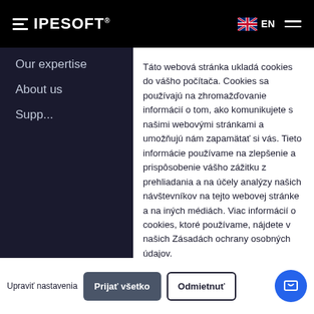[Figure (logo): IPESOFT logo in white on black navigation bar]
Our expertise
About us
Support
Táto webová stránka ukladá cookies do vášho počítača. Cookies sa používajú na zhromažďovanie informácií o tom, ako komunikujete s našimi webovými stránkami a umožňujú nám zapamätať si vás. Tieto informácie používame na zlepšenie a prispôsobenie vášho zážitku z prehliadania a na účely analýzy našich návštevníkov na tejto webovej stránke a na iných médiách. Viac informácií o cookies, ktoré používame, nájdete v našich Zásadách ochrany osobných údajov.
Ak odmietnete, vaše informácie nebudú pri návšteve tejto webovej stránky sledované. Vo vašom prehliadači sa použije jeden súbor cookie na zapamätanie vašich preferencií, ktoré sa nemajú sledovať.
Upraviť nastavenia
Prijať všetko
Odmietnuť